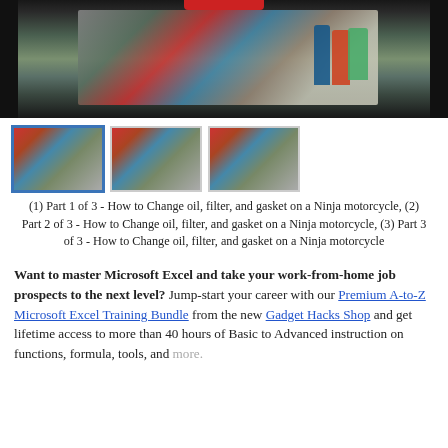[Figure (screenshot): Main video thumbnail showing a person crouching near motorcycle oil change supplies on outdoor steps, with a red bar at top center]
[Figure (screenshot): Three video thumbnails in a row: first selected (blue border), second and third unselected. All show a person in red shirt near a motorcycle.]
(1) Part 1 of 3 - How to Change oil, filter, and gasket on a Ninja motorcycle, (2) Part 2 of 3 - How to Change oil, filter, and gasket on a Ninja motorcycle, (3) Part 3 of 3 - How to Change oil, filter, and gasket on a Ninja motorcycle
Want to master Microsoft Excel and take your work-from-home job prospects to the next level? Jump-start your career with our Premium A-to-Z Microsoft Excel Training Bundle from the new Gadget Hacks Shop and get lifetime access to more than 40 hours of Basic to Advanced instruction on functions, formula, tools, and more.